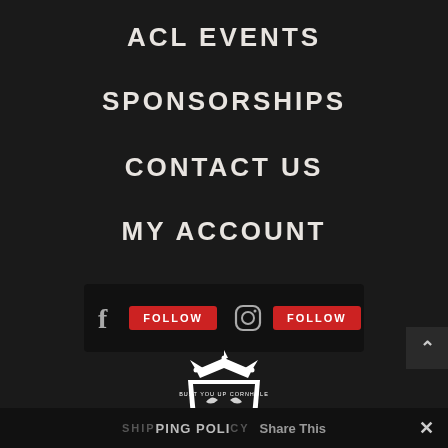ACL EVENTS
SPONSORSHIPS
CONTACT US
MY ACCOUNT
[Figure (infographic): Social media follow bar with Facebook icon and FOLLOW button, Instagram icon and FOLLOW button on dark background]
[Figure (logo): BUST YOU UP CORNHOLE shield logo in white and black on dark background]
SHIPPING POLICY  Share This  ✕